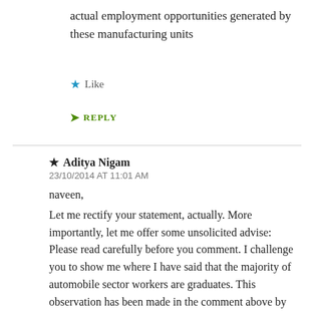actual employment opportunities generated by these manufacturing units
★ Like
➜ REPLY
★ Aditya Nigam
23/10/2014 AT 11:01 AM
naveen,
Let me rectify your statement, actually. More importantly, let me offer some unsolicited advise: Please read carefully before you comment. I challenge you to show me where I have said that the majority of automobile sector workers are graduates. This observation has been made in the comment above by Sanjay and he may have good reasons for saying so. So, your unsolicited advise ("please visit